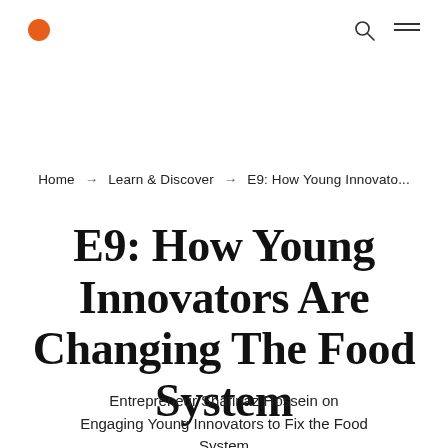● [search icon] [menu icon]
Home → Learn & Discover → E9: How Young Innovato...
E9: How Young Innovators Are Changing The Food System
Entrepreneur Shafinaz Hossein on Engaging Young Innovators to Fix the Food System